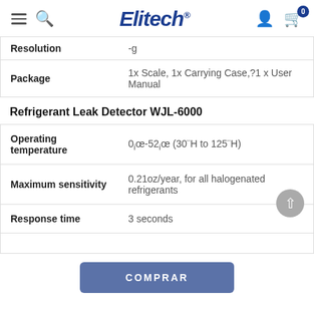Elitech
| Attribute | Value |
| --- | --- |
| Resolution | -g |
| Package | 1x Scale, 1x Carrying Case, ?1 x User Manual |
Refrigerant Leak Detector WJL-6000
| Attribute | Value |
| --- | --- |
| Operating temperature | 0iœ-52iœ (30¨H to 125¨H) |
| Maximum sensitivity | 0.21oz/year, for all halogenated refrigerants |
| Response time | 3 seconds |
COMPRAR